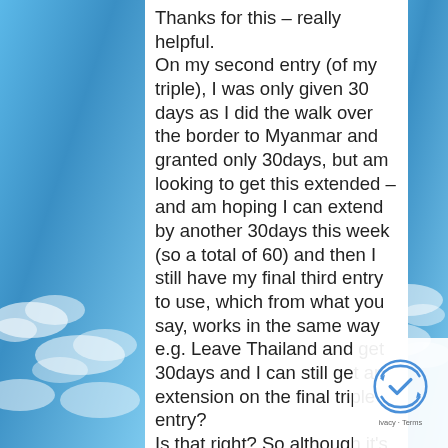Thanks for this – really helpful.
On my second entry (of my triple), I was only given 30 days as I did the walk over the border to Myanmar and granted only 30days, but am looking to get this extended – and am hoping I can extend by another 30days this week (so a total of 60) and then I still have my final third entry to use, which from what you say, works in the same way e.g. Leave Thailand and get 30days and I can still get an extension on the final triple entry?
Is that right? So although it's a six month visa based on the first entry (60+30days) and second entry (30+30) the third